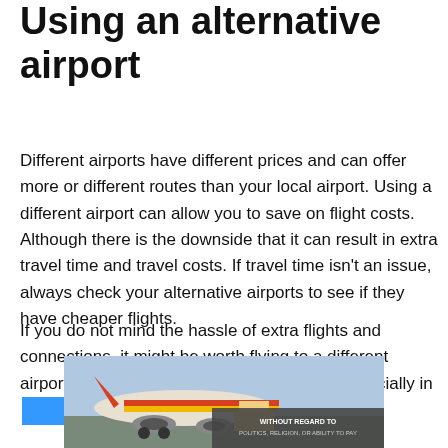Using an alternative airport
Different airports have different prices and can offer more or different routes than your local airport. Using a different airport can allow you to save on flight costs. Although there is the downside that it can result in extra travel time and travel costs. If travel time isn't an issue, always check your alternative airports to see if they have cheaper flights.
If you do not mind the hassle of extra flights and connections, it might be worth flying to a different airport (even going to a different country – especially in [Europe]
[Figure (photo): Photo of cargo aircraft on tarmac being loaded, with an advertisement overlay reading WITHOUT REGARD TO POLITICS, RELIGION, OR ABILITY TO PAY]